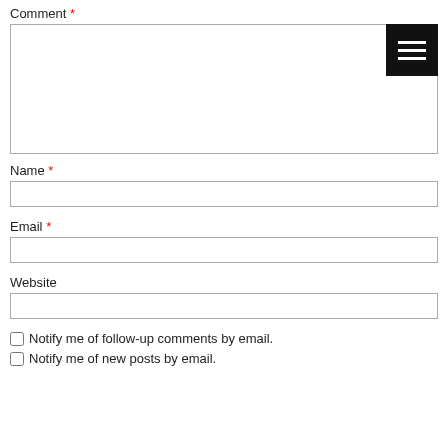Comment *
[Figure (screenshot): Comment textarea with a black menu icon (hamburger) in the top-right corner]
Name *
[Figure (screenshot): Name text input field]
Email *
[Figure (screenshot): Email text input field]
Website
[Figure (screenshot): Website text input field]
Notify me of follow-up comments by email.
Notify me of new posts by email.